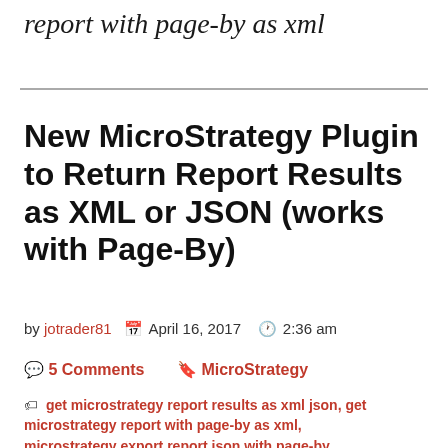report with page-by as xml
New MicroStrategy Plugin to Return Report Results as XML or JSON (works with Page-By)
by jotrader81  April 16, 2017  2:36 am
5 Comments  MicroStrategy
get microstrategy report results as xml json, get microstrategy report with page-by as xml, microstrategy export report json with page-by, microstrategy export report with page-by, microstrategy report results as xml json,